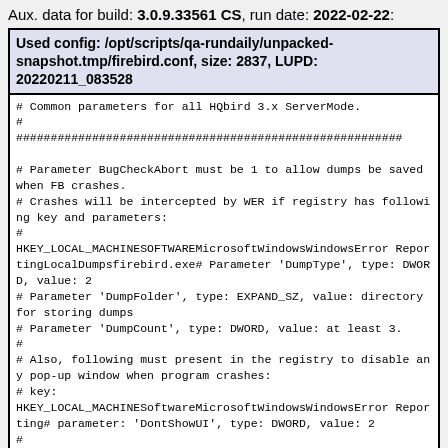Aux. data for build: 3.0.9.33561 CS, run date: 2022-02-22:
Used config: /opt/scripts/qa-rundaily/unpacked-snapshot.tmp/firebird.conf, size: 2837, LUPD: 20220211_083528
# Common parameters for all HQbird 3.x ServerMode.
#
########################################################

# Parameter BugCheckAbort must be 1 to allow dumps be saved when FB crashes.
# Crashes will be intercepted by WER if registry has following key and parameters:
#
HKEY_LOCAL_MACHINESOFTWAREMicrosoftWindowsWindowsError ReportingLocalDumpsfirebird.exe# Parameter 'DumpType', type: DWORD, value: 2
# Parameter 'DumpFolder', type: EXPAND_SZ, value: directory for storing dumps
# Parameter 'DumpCount', type: DWORD, value: at least 3.
#
# Also, following must present in the registry to disable any pop-up window when program crashes:
# key:
HKEY_LOCAL_MACHINESoftwareMicrosoftWindowsWindowsError Reporting# parameter: 'DontShowUI', type: DWORD, value: 2
#